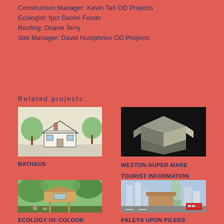Construction Manager: Kevin Tait OD Projects
Ecologist: fpcr Daniel Foster
Roofing: Duane Terry
Site Manager: David Humphries OD Projects
Related projects:
[Figure (illustration): Architectural sketch illustration of a small cottage-style house with trees]
[Figure (photo): 3D model or scale model of a house structure on dark background]
BATHAUS
WESTON-SUPER-MARE TOURIST INFORMATION CENTRE
[Figure (photo): Photo of a wooden treehouse or elevated structure in a green park setting]
[Figure (photo): Photo of London cityscape with skyscrapers including the Gherkin building and a red bus]
ECOLOGY OF COLOUR
PALEYS UPON PILERS